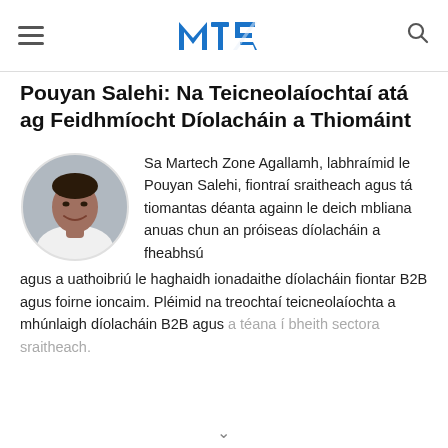MTE logo, hamburger menu, search icon
Pouyan Salehi: Na Teicneolaíochtaí atá ag Feidhmíocht Díolacháin a Thiomáint
[Figure (photo): Circular black-and-white portrait photo of Pouyan Salehi, a man smiling, wearing a white shirt]
Sa Martech Zone Agallamh, labhraímid le Pouyan Salehi, fiontraí sraitheach agus tá tiomantas déanta againn le deich mbliana anuas chun an próiseas díolacháin a fheabhsú agus a uathoibriú le haghaidh ionadaithe díolacháin fiontar B2B agus foirne ioncaim. Pléimid na treochtaí teicneolaíochta a mhúnlaigh díolacháin B2B agus